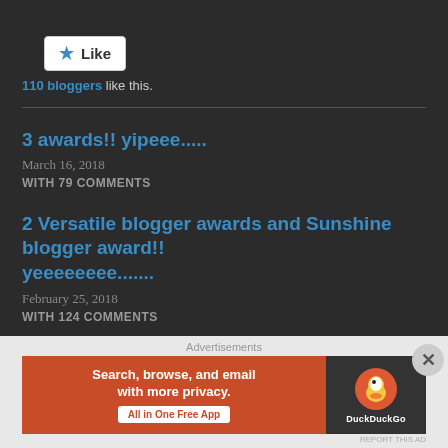[Figure (other): Like button widget with star icon]
110 bloggers like this.
3 awards!! yipeee.....
March 16, 2018
WITH 79 COMMENTS
2 Versatile blogger awards and Sunshine blogger award!! yeeeeeeee.......
February 25, 2018
WITH 124 COMMENTS
Depression- a Disorder
May 23, 2019
Advertisements
[Figure (infographic): DuckDuckGo advertisement banner: Search, browse, and email with more privacy. All in One Free App]